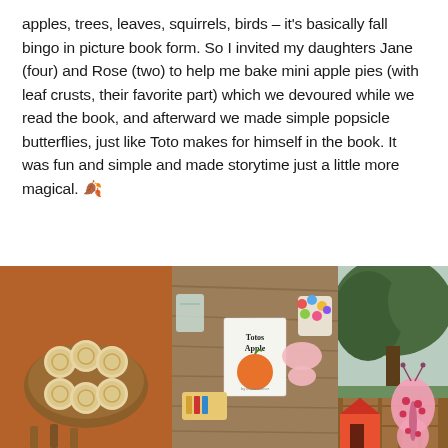apples, trees, leaves, squirrels, birds – it's basically fall bingo in picture book form. So I invited my daughters Jane (four) and Rose (two) to help me bake mini apple pies (with leaf crusts, their favorite part) which we devoured while we read the book, and afterward we made simple popsicle butterflies, just like Toto makes for himself in the book. It was fun and simple and made storytime just a little more magical. 🍂
[Figure (photo): Three side-by-side photos: left shows mini apple pies on a wooden board on a rust/brown background; center shows a wooden table with the book 'Totos Apple', craft supplies, colorful pom-poms, and butterfly cutouts; right shows a backyard with a tree and a large pink butterfly decoration next to a small playhouse.]